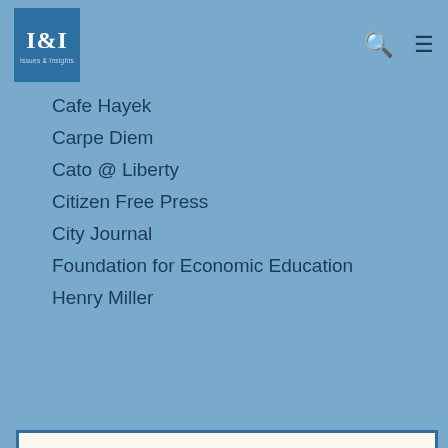I&I Issues & Insights
Cafe Hayek
Carpe Diem
Cato @ Liberty
Citizen Free Press
City Journal
Foundation for Economic Education
Henry Miller
Help Us Cancel Google
You may have noticed that we've stripped a lot of the ads off our site. They were annoying to us and to readers, and we especially hate dealing with Google's content police.
We'd rather rely on our readers to support our work directly than get pennies from giant ad networks.
We won't charge you to access our content, but you can help us keep this site going with a donation.